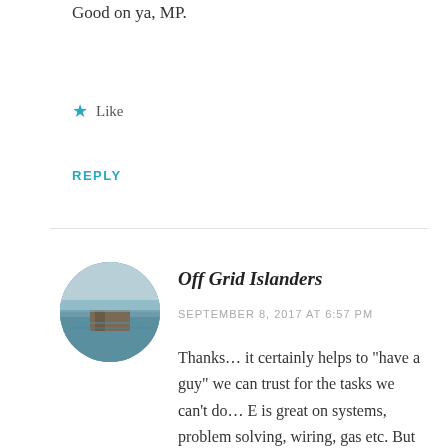Good on ya, MP.
Like
REPLY
Off Grid Islanders
SEPTEMBER 8, 2017 AT 6:57 PM
Thanks… it certainly helps to “have a guy” we can trust for the tasks we can’t do… E is great on systems, problem solving, wiring, gas etc. But intricate carpentry is beyond us.. thank goodness we have a guy……